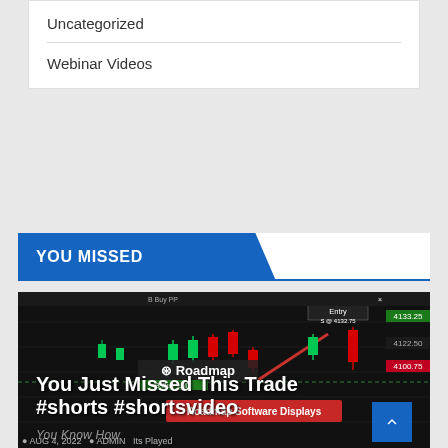Uncategorized
Webinar Videos
YOU MISSED
[Figure (screenshot): Trading chart screenshot showing candlestick chart with Roadmap Software branding and entry annotation. Overlay text reads 'You Just Missed This Trade #shorts #shortsvideo' and 'Roadmap Software Displays You Know How It's Played']
AUG 4, 2022